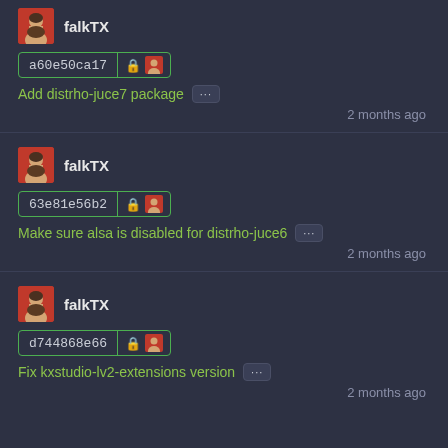falkTX
a60e50ca17
Add distrho-juce7 package
2 months ago
falkTX
63e81e56b2
Make sure alsa is disabled for distrho-juce6
2 months ago
falkTX
d744868e66
Fix kxstudio-lv2-extensions version
2 months ago